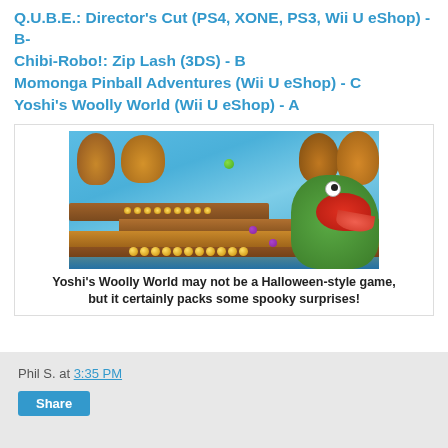Q.U.B.E.: Director's Cut (PS4, XONE, PS3, Wii U eShop) - B-
Chibi-Robo!: Zip Lash (3DS) - B
Momonga Pinball Adventures (Wii U eShop) - C
Yoshi's Woolly World (Wii U eShop) - A
[Figure (screenshot): A screenshot from Yoshi's Woolly World showing a colorful platformer level with a large green Yoshi character with an open mouth on the right, wooden platforms, coins, trees, and a bright blue background.]
Yoshi's Woolly World may not be a Halloween-style game, but it certainly packs some spooky surprises!
Phil S. at 3:35 PM